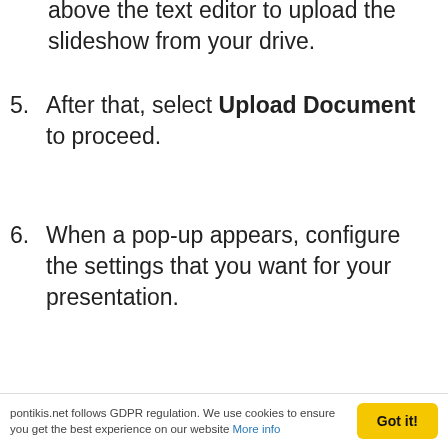above the text editor to upload the slideshow from your drive.
5. After that, select Upload Document to proceed.
6. When a pop-up appears, configure the settings that you want for your presentation.
7. Finally, click on the Insert button once you're done.
3. Embed From SlideShare To WordPress
pontikis.net follows GDPR regulation. We use cookies to ensure you get the best experience on our website More info   Got it!